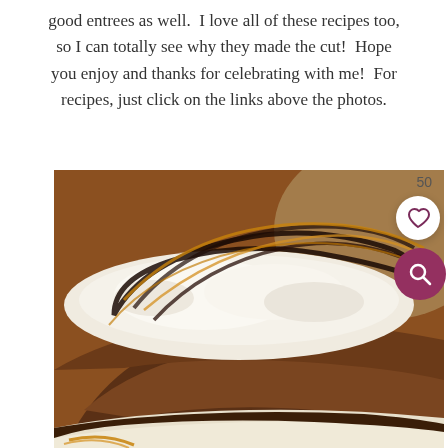good entrees as well.  I love all of these recipes too, so I can totally see why they made the cut!  Hope you enjoy and thanks for celebrating with me!  For recipes, just click on the links above the photos.
[Figure (photo): A slice of chocolate dessert (ice cream cake or mud pie) topped with whipped cream and drizzled with chocolate sauce and caramel, served on a white plate with caramel drizzle on the plate.]